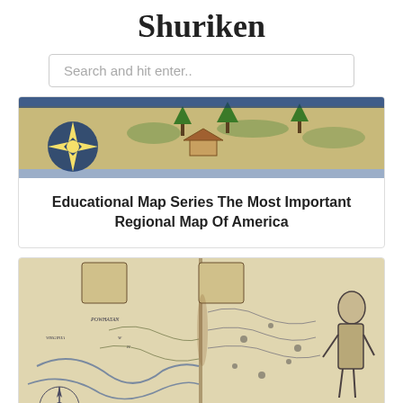Shuriken
Search and hit enter..
[Figure (map): Historical colonial-era map of America with compass rose and decorative elements, colored in blue and gold tones]
Educational Map Series The Most Important Regional Map Of America
[Figure (map): John Smith 1612 map of Virginia, black and white engraving with detailed coastal and inland features, figures on the right side]
Map Of Virginia, John Smith 1613 History Is Fun